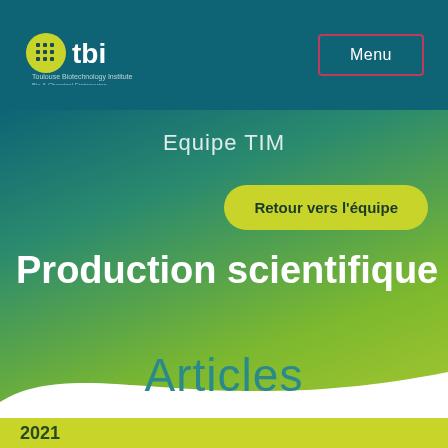tbi — Toulouse Biotechnology Institute
Menu
Equipe TIM
Retour vers l'équipe
Production scientifique
Articles
2021